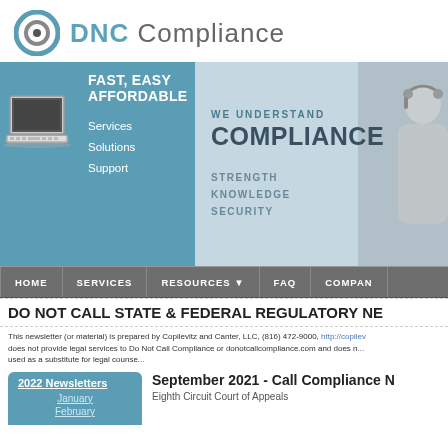[Figure (logo): DNC Compliance logo with circular target icon and teal/gray text]
[Figure (infographic): Hero banner split: left teal panel with FAST EASY AFFORDABLE text and laptop image, Services/Solutions/Support links; right panel with WE UNDERSTAND COMPLIANCE, STRENGTH KNOWLEDGE SECURITY, and person with headset photo]
HOME  SERVICES  RESOURCES  FAQ  COMPANY
DO NOT CALL STATE & FEDERAL REGULATORY NE...
This newsletter (or material) is prepared by Copilevitz and Canter, LLC, (816) 472-9000, http://copilev... does not provide legal services to Do Not Call Compliance or donotcallcompliance.com and does n... used as a substitute for legal counse...
2022 Newsletters
January
February
September 2021 - Call Compliance N...
Eighth Circuit Court of Appeals